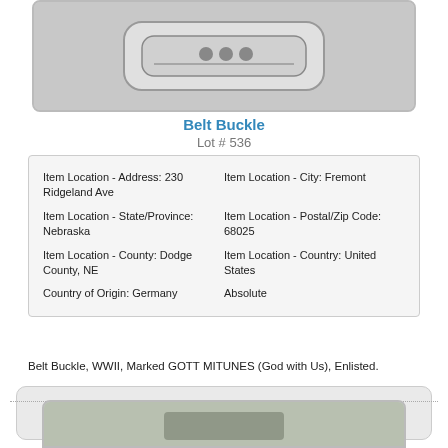[Figure (photo): Photo of a belt buckle item, shown against a light gray background]
Belt Buckle
Lot # 536
| Item Location - Address: 230 Ridgeland Ave | Item Location - City: Fremont |
| Item Location - State/Province: Nebraska | Item Location - Postal/Zip Code: 68025 |
| Item Location - County: Dodge County, NE | Item Location - Country: United States |
| Country of Origin: Germany | Absolute |
Belt Buckle, WWII, Marked GOTT MITUNES (God with Us), Enlisted.
Sold for: USD 40.00
to g****r